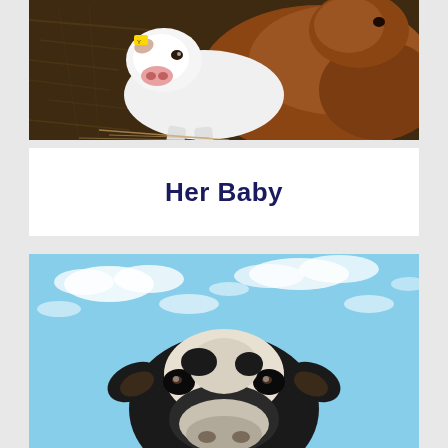[Figure (photo): A newborn calf lying on hay/straw. The calf has a white face with a pink nose and brown body. A yellow ear tag is visible. Another brown cow is partially visible in the background.]
Her Baby
[Figure (photo): A black and white dairy cow (Holstein) looking directly at the camera from a low angle, with a blue sky and white clouds in the background.]